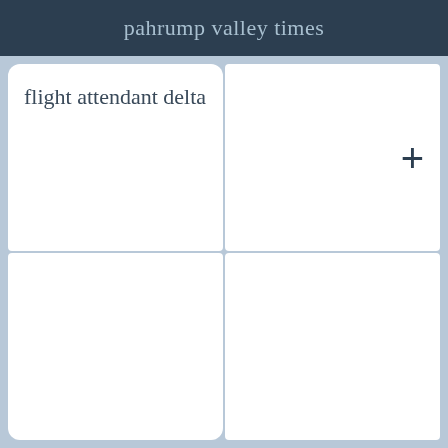pahrump valley times
flight attendant delta
+